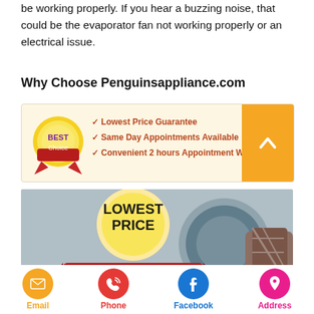be working properly. If you hear a buzzing noise, that could be the evaporator fan not working properly or an electrical issue.
Why Choose Penguinsappliance.com
[Figure (infographic): Best Choice badge with checklist: Lowest Price Guarantee, Same Day Appointments Available, Convenient 2 hours Appointment Window. Orange scroll-up button on right.]
[Figure (infographic): Lowest Price Guarantee promotional banner with gold starburst badge and appliance repair technician working on washing machine in background.]
[Figure (infographic): Footer navigation with four icon circles: Email (orange), Phone (red), Facebook (blue), Address (pink).]